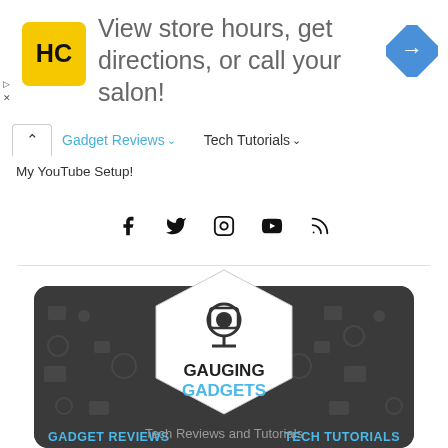[Figure (screenshot): Advertisement banner: HC salon logo (yellow background with HC text), text 'View store hours, get directions, or call your salon!', blue diamond navigation arrow icon on right]
[Figure (screenshot): Website navigation bar with up arrow, 'Gadget Reviews' dropdown link in blue, 'Tech Tutorials' dropdown in dark text]
My YouTube Setup!
[Figure (screenshot): Social media icons row: Facebook, Twitter, Instagram, YouTube, RSS]
[Figure (logo): Gauging Gadgets website banner: dark rounded rectangle with tech gadget pattern, white hexagon in center with camera icon and text 'GAUGING GADGETS' (GADGETS in blue), 'GADGET REVIEWS' label on left and 'TECH TUTORIALS' on right in blue]
Tech Reviews and Tutorials